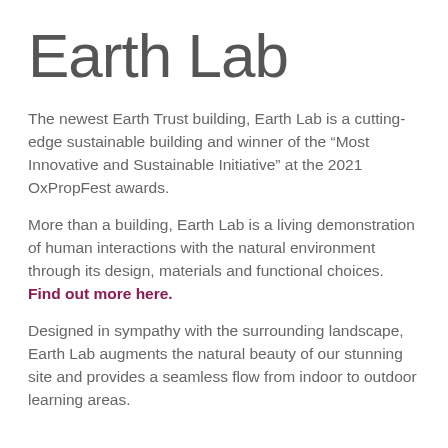Earth Lab
The newest Earth Trust building, Earth Lab is a cutting-edge sustainable building and winner of the “Most Innovative and Sustainable Initiative” at the 2021 OxPropFest awards.
More than a building, Earth Lab is a living demonstration of human interactions with the natural environment through its design, materials and functional choices. Find out more here.
Designed in sympathy with the surrounding landscape, Earth Lab augments the natural beauty of our stunning site and provides a seamless flow from indoor to outdoor learning areas.